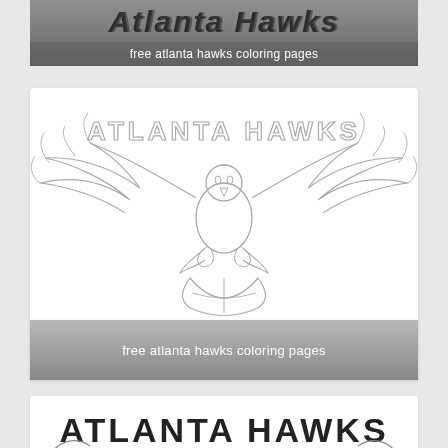[Figure (illustration): Atlanta Hawks logo coloring page - partial view of top card showing stylized 'Atlanta Hawks' script text on gray background]
free atlanta hawks coloring pages
[Figure (illustration): Atlanta Hawks NBA logo coloring page outline - hawk with spread wings perched on basketball, with 'ATLANTA HAWKS' text above, in outline/coloring page style on white background with gray gradient footer]
free atlanta hawks coloring pages
[Figure (illustration): Atlanta Hawks coloring page - partial view of third card showing 'ATLANTA HAWKS' block text with partial hawk wing outlines visible]